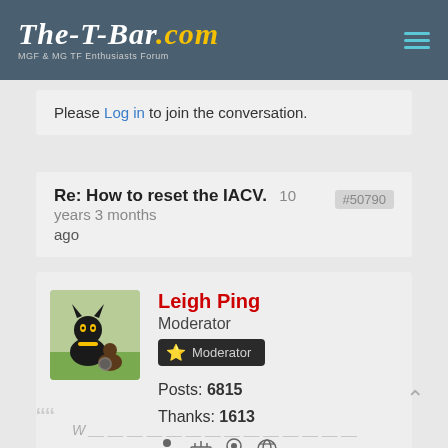The-T-Bar.com — MGF & MG TF Enthusiasts Forum
Please Log in to join the conversation.
Re: How to reset the IACV.  10 years 3 months ago  #50790
Leigh Ping
Moderator
Posts: 6815
Thanks: 1613